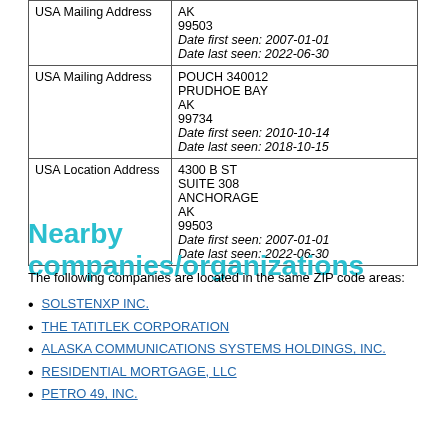| Type | Address Details |
| --- | --- |
| USA Mailing Address | AK
99503
Date first seen: 2007-01-01
Date last seen: 2022-06-30 |
| USA Mailing Address | POUCH 340012
PRUDHOE BAY
AK
99734
Date first seen: 2010-10-14
Date last seen: 2018-10-15 |
| USA Location Address | 4300 B ST
SUITE 308
ANCHORAGE
AK
99503
Date first seen: 2007-01-01
Date last seen: 2022-06-30 |
Nearby companies/organizations
The following companies are located in the same ZIP code areas:
SOLSTENXP INC.
THE TATITLEK CORPORATION
ALASKA COMMUNICATIONS SYSTEMS HOLDINGS, INC.
RESIDENTIAL MORTGAGE, LLC
PETRO 49, INC.